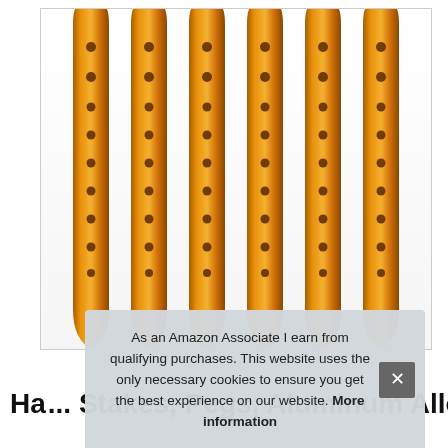[Figure (photo): Six gold/orange anodized aluminum Y-shaped or flat tent stakes arranged vertically side by side, each with multiple circular holes along the length, against a white background.]
As an Amazon Associate I earn from qualifying purchases. This website uses the only necessary cookies to ensure you get the best experience on our website. More information
Ha... Stakes, Pegs, Aluminum Alloy S Shaped...